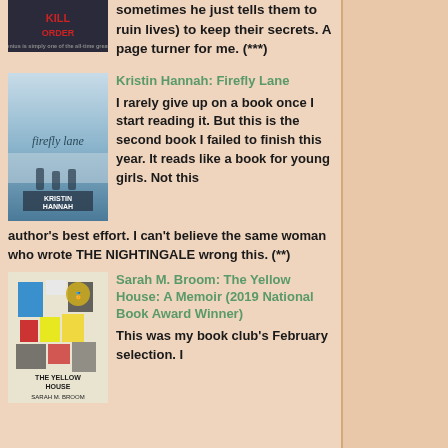sometimes he just tells them to ruin lives) to keep their secrets. A page turner for me. (***)
Kristin Hannah: Firefly Lane
[Figure (illustration): Book cover of Firefly Lane by Kristin Hannah — blue gradient with silhouettes]
I rarely give up on a book once I start reading it. But this is the second book I failed to finish this year. It reads like a book for young girls. Not this author's best effort. I can't believe the same woman who wrote THE NIGHTINGALE wrong this. (**)
Sarah M. Broom: The Yellow House: A Memoir (2019 National Book Award Winner)
[Figure (illustration): Book cover of The Yellow House: A Memoir by Sarah M. Broom — collage style with colorful shapes and photos]
This was my book club's February selection. I